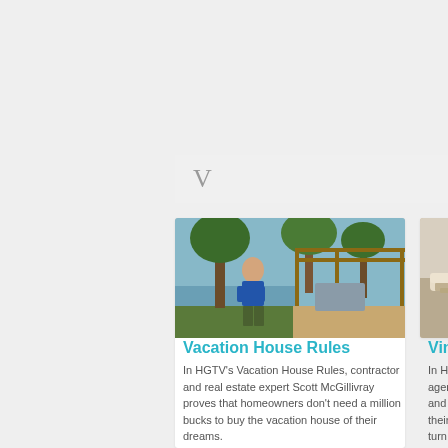V
[Figure (photo): Man in blue shirt standing outdoors in front of a lakeside pergola patio area with trees]
Vacation House Rules
In HGTV's Vacation House Rules, contractor and real estate expert Scott McGillivray proves that homeowners don't need a million bucks to buy the vacation house of their dreams.
[Figure (photo): Person rolling out carpet or flooring material on a table indoors]
Vintage Fli...
In HGTV's "Vint... agent and contr... and his design-s... their passion for... turn them into s... series follows th... they buy, restore... home.